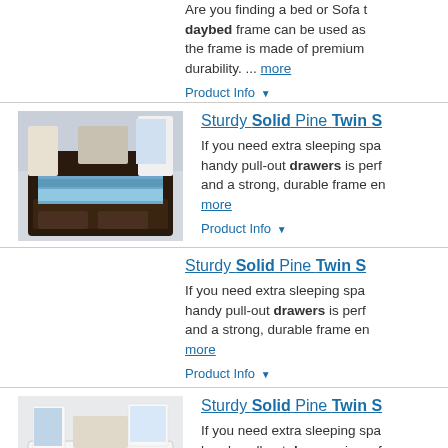Are you finding a bed or Sofa to... daybed frame can be used as... the frame is made of premium... durability. ... more
Product Info ▼
[Figure (photo): Photo of a dark wood twin daybed with pull-out drawers and blue bedding in a bedroom setting]
Sturdy Solid Pine Twin S...
If you need extra sleeping spac... handy pull-out drawers is perfe... and a strong, durable frame en... more
Product Info ▼
Sturdy Solid Pine Twin S...
If you need extra sleeping spac... handy pull-out drawers is perfe... and a strong, durable frame en... more
Product Info ▼
[Figure (photo): Photo of a white twin daybed with pull-out drawers and blue accent pillows in a light room]
Sturdy Solid Pine Twin S...
If you need extra sleeping spac... handy pull-out drawers is perfe... and a strong, durable frame en... more
Product Info ▼
Modern Size Solid Woo...
If you need extra sleeping...